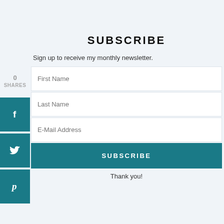SUBSCRIBE
Sign up to receive my monthly newsletter.
0
SHARES
[Figure (other): Facebook share button icon (teal blue square with white 'f' icon)]
[Figure (other): Twitter share button icon (teal blue square with white bird icon)]
[Figure (other): Pinterest share button icon (teal blue square with white 'p' icon)]
First Name
Last Name
E-Mail Address
SUBSCRIBE
Thank you!